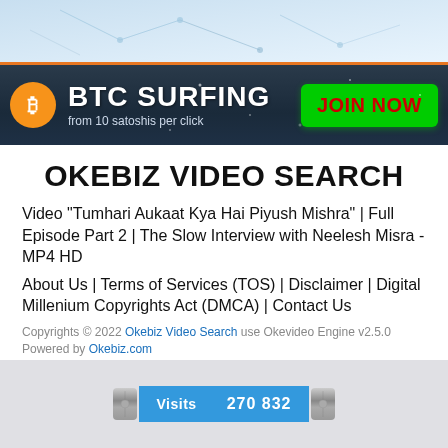[Figure (illustration): Top banner with light blue circuit/tech background and orange bottom border]
[Figure (infographic): BTC Surfing advertisement banner: orange Bitcoin logo circle, white text 'BTC SURFING from 10 satoshis per click', green JOIN NOW button on dark navy background]
OKEBIZ VIDEO SEARCH
Video "Tumhari Aukaat Kya Hai Piyush Mishra" | Full Episode Part 2 | The Slow Interview with Neelesh Misra - MP4 HD
About Us | Terms of Services (TOS) | Disclaimer | Digital Millenium Copyrights Act (DMCA) | Contact Us
Copyrights © 2022 Okebiz Video Search  use Okevideo Engine v2.5.0
Powered by Okebiz.com
[Figure (infographic): Visits counter widget showing '270 832' on a blue background with metallic end caps]